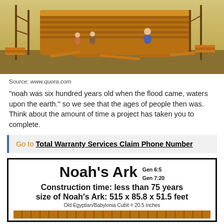[Figure (illustration): Illustration of Noah's Ark being built, showing workers with wood planks, scaffolding, and the large ark structure in warm orange/brown tones]
Source: www.quora.com
“noah was six hundred years old when the flood came, waters upon the earth.” so we see that the ages of people then was. Think about the amount of time a project has taken you to complete.
Go to Total Warranty Services Claim Phone Number
[Figure (infographic): Noah's Ark infographic box with title 'Noah’s Ark', references Gen 6:5 and Gen 7:20, states 'Construction time: less than 75 years', 'size of Noah’s Ark: 515 x 85.8 x 51.5 feet', 'Old Egyptian/Babylonia Cubit = 20.5 inches', and shows a partial ark image at bottom]